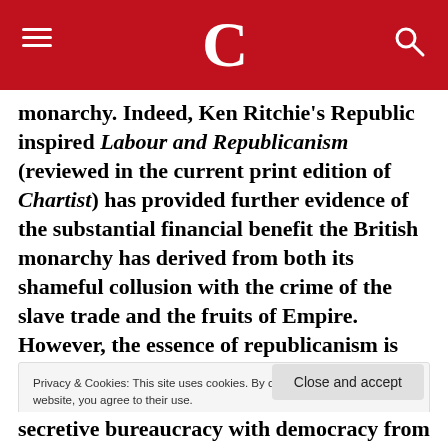C
monarchy. Indeed, Ken Ritchie's Republic inspired Labour and Republicanism (reviewed in the current print edition of Chartist) has provided further evidence of the substantial financial benefit the British monarchy has derived from both its shameful collusion with the crime of the slave trade and the fruits of Empire. However, the essence of republicanism is the case for democracy. The question of the wealth and behaviours of individual royals is more the province of bourgeois anti-
Privacy & Cookies: This site uses cookies. By continuing to use this website, you agree to their use.
To find out more, including how to control cookies, see here: Cookie Policy
secretive bureaucracy with democracy from